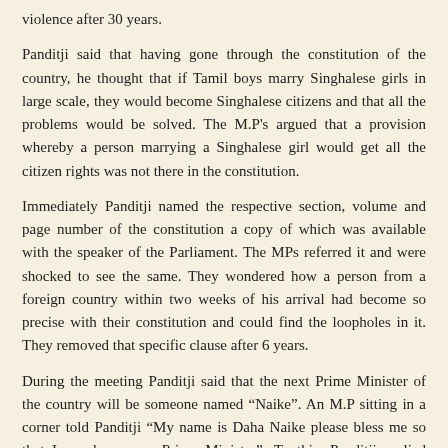violence after 30 years.
Panditji said that having gone through the constitution of the country, he thought that if Tamil boys marry Singhalese girls in large scale, they would become Singhalese citizens and that all the problems would be solved. The M.P's argued that a provision whereby a person marrying a Singhalese girl would get all the citizen rights was not there in the constitution.
Immediately Panditji named the respective section, volume and page number of the constitution a copy of which was available with the speaker of the Parliament. The MPs referred it and were shocked to see the same. They wondered how a person from a foreign country within two weeks of his arrival had become so precise with their constitution and could find the loopholes in it. They removed that specific clause after 6 years.
During the meeting Panditji said that the next Prime Minister of the country will be someone named “Naike”. An M.P sitting in a corner told Panditji “My name is Daha Naike please bless me so that I can become a Prime Minister”. To this, Panditji replied saying “You will also become a Prime Minister of Ceylon for a short period.”
Everyone laughed in chorus looking at “Daha Naike” saying that an